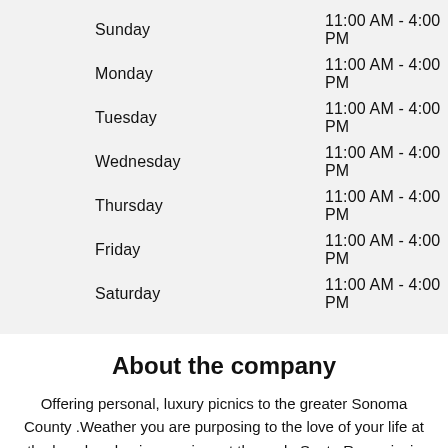| Day | Hours |
| --- | --- |
| Sunday | 11:00 AM - 4:00 PM |
| Monday | 11:00 AM - 4:00 PM |
| Tuesday | 11:00 AM - 4:00 PM |
| Wednesday | 11:00 AM - 4:00 PM |
| Thursday | 11:00 AM - 4:00 PM |
| Friday | 11:00 AM - 4:00 PM |
| Saturday | 11:00 AM - 4:00 PM |
About the company
Offering personal, luxury picnics to the greater Sonoma County .Weather you are purposing to the love of your life at the beach or having a soiree at the park .Santa Rosa picnic offers hassle free set up and tear down. Our team sets up 30 minutes before your scheduled reservation time. With a quick text that you are finished with your reservation we will pack up